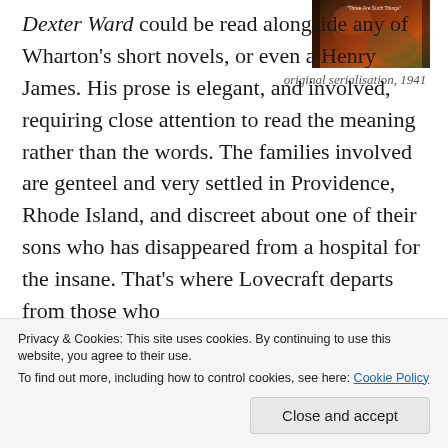[Figure (photo): Book cover image partially visible at top right corner, dark background with orange/green tones]
original serialisation, 1941
Dexter Ward could be read alongside any of Wharton's short novels, or even a Henry James. His prose is elegant, and involved, requiring close attention to read the meaning rather than the words. The families involved are genteel and very settled in Providence, Rhode Island, and discreet about one of their sons who has disappeared from a hospital for the insane. That's where Lovecraft departs from those who
Privacy & Cookies: This site uses cookies. By continuing to use this website, you agree to their use.
To find out more, including how to control cookies, see here: Cookie Policy
Close and accept